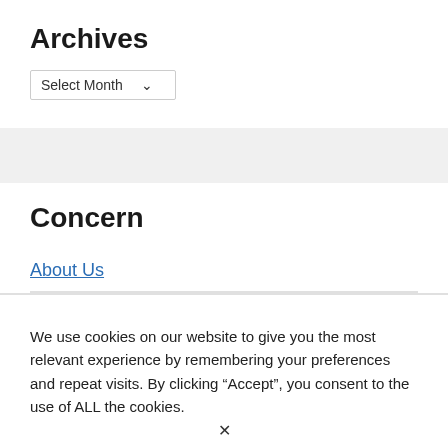Archives
Select Month
Concern
About Us
We use cookies on our website to give you the most relevant experience by remembering your preferences and repeat visits. By clicking “Accept”, you consent to the use of ALL the cookies.